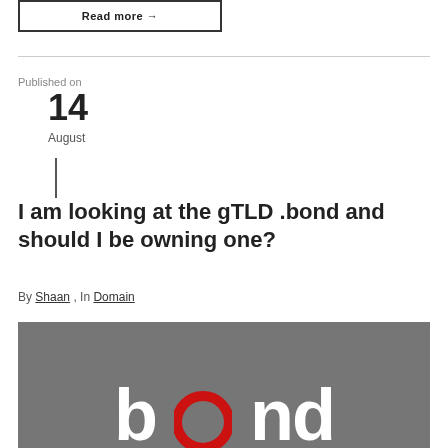Read more →
Published on
14
August
I am looking at the gTLD .bond and should I be owning one?
By Shaan , In Domain
[Figure (illustration): Gray banner image with the word 'bond' displayed in large white bold letters, with the letter 'o' rendered in red/dark circular style.]